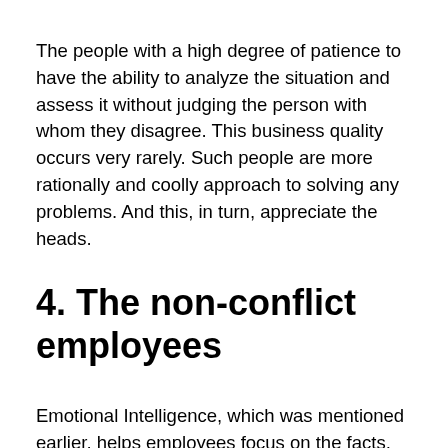The people with a high degree of patience to have the ability to analyze the situation and assess it without judging the person with whom they disagree. This business quality occurs very rarely. Such people are more rationally and coolly approach to solving any problems. And this, in turn, appreciate the heads.
4. The non-conflict employees
Emotional Intelligence, which was mentioned earlier, helps employees focus on the facts, omitting unnecessary details. These people are able to "defuse" the situation and calmly explain what results worth pursuing. Thus, non-contentious recruiting employees, executives will be able